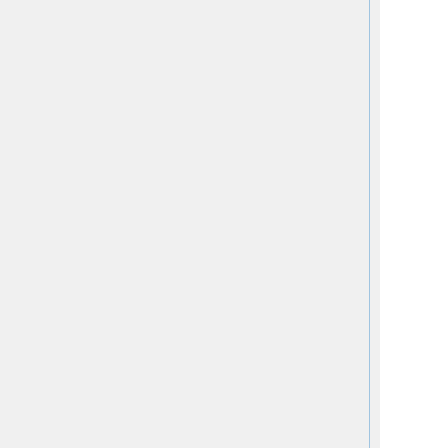11:10 - 11:50 Chihiro Uehara and Kenichi Asai
                Cross validation of the universe teachpack of Racket in OCaml
11:50 - 12:30 Cezar Ionescu and Patrik Jansson
                Domain-Specific Languages of Mathematics: Presenting Mathematical Analysis using FP
12:30 - 14:00 Lunch
14:00 - 14:40 Fernando Alegre and Juana Moreno
                Haskell in Middle and High School Mathematics
14:40 - 15:30 Workshop/discussion
15:30 - 16:00 Coffee/tea
16:00 - 16:40 Francisco Saiz